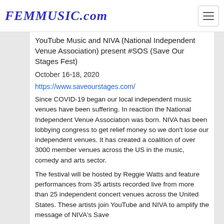FEMMUSIC.com
YouTube Music and NIVA (National Independent Venue Association) present #SOS (Save Our Stages Fest)
October 16-18, 2020
https://www.saveourstages.com/
Since COVID-19 began our local independent music venues have been suffering. In reaction the National Independent Venue Association was born. NIVA has been lobbying congress to get relief money so we don’t lose our independent venues. It has created a coalition of over 3000 member venues across the US in the music, comedy and arts sector.
The festival will be hosted by Reggie Watts and feature performances from 35 artists recorded live from more than 25 independent concert venues across the United States. These artists join YouTube and NIVA to amplify the message of NIVA’s Save